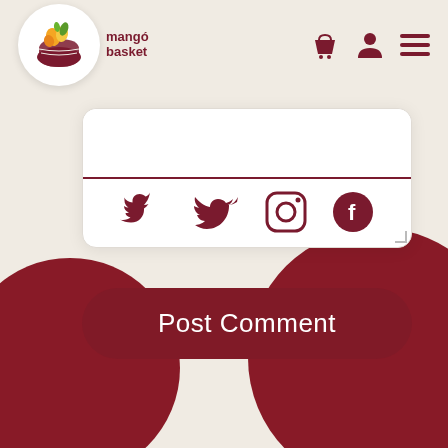[Figure (screenshot): Mango Basket website navigation bar with logo (mango basket icon and text 'mango basket'), a shopping basket icon, a person/user icon, and a hamburger menu icon, on a light beige background.]
[Figure (screenshot): White card UI element showing a textarea/comment input box with a dark red bottom border, three social media icons (Twitter bird, Instagram camera, Facebook 'f' circle) arranged horizontally in the middle, with a resize handle at bottom right.]
[Figure (screenshot): Dark red rounded rectangle 'Post Comment' button below the white card.]
[Figure (illustration): Two large dark red decorative circles at the bottom of the page — one at bottom-left partially visible, one at bottom-right partially visible.]